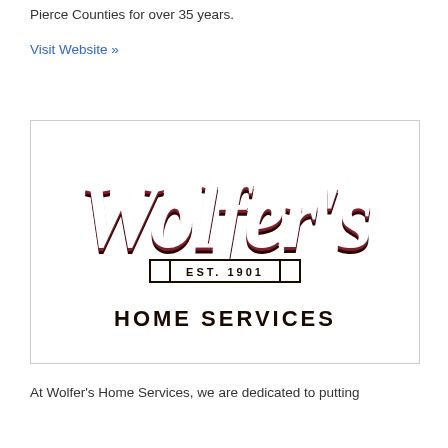Pierce Counties for over 35 years.
Visit Website »
[Figure (logo): Wolfer's Home Services logo - script lettering with 'Wolfer's' in white with dark outline, 'EST. 1901' banner below, and 'HOME SERVICES' in bold block letters]
At Wolfer's Home Services, we are dedicated to putting